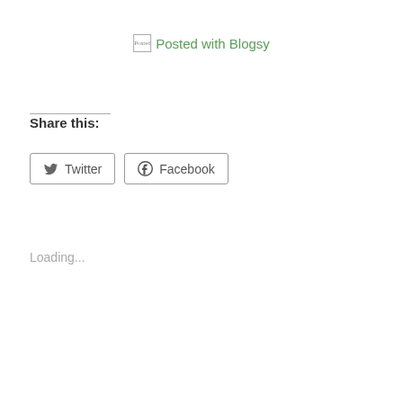[Figure (other): Blogsy app icon image followed by 'Posted with Blogsy' link text in green]
Share this:
Twitter
Facebook
Loading...